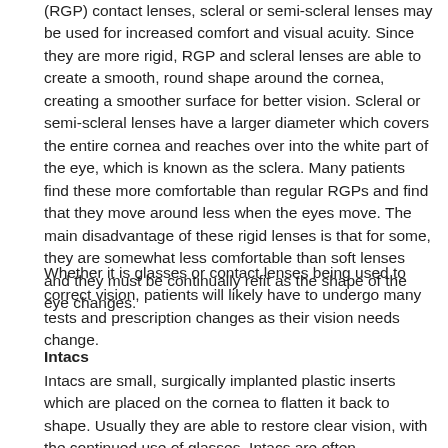(RGP) contact lenses, scleral or semi-scleral lenses may be used for increased comfort and visual acuity. Since they are more rigid, RGP and scleral lenses are able to create a smooth, round shape around the cornea, creating a smoother surface for better vision. Scleral or semi-scleral lenses have a larger diameter which covers the entire cornea and reaches over into the white part of the eye, which is known as the sclera. Many patients find these more comfortable than regular RGPs and find that they move around less when the eyes move. The main disadvantage of these rigid lenses is that for some, they are somewhat less comfortable than soft lenses and they must be continually refit as the shape of the eye changes.
Whether it is glasses or contact lenses being used to correct vision, patients will likely have to undergo many tests and prescription changes as their vision needs change.
Intacs
Intacs are small, surgically implanted plastic inserts which are placed on the cornea to flatten it back to shape. Usually they are able to restore clear vision, with the continued use of glasses. Intacs are often recommended when contact lenses and